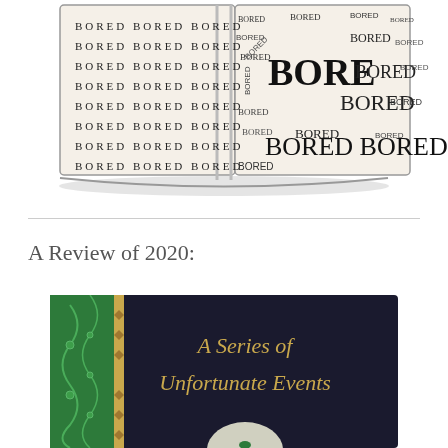[Figure (illustration): An open book illustration. Left page has rows of the word BORED in uniform text. Right page has the word BORED repeated in various sizes, angles, and typography creating a word-cloud effect.]
A Review of 2020:
[Figure (photo): Book cover of 'A Series of Unfortunate Events' showing gold serif title text on dark background, with green decorative panel on left side with gold border, and a circular element at the bottom.]